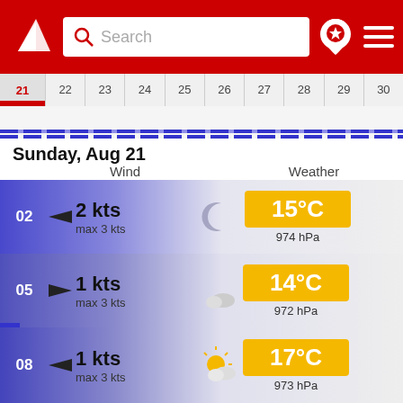[Figure (screenshot): App header with red background, white logo (arrow/triangle), search bar, location pin icon, and hamburger menu icon]
[Figure (other): Calendar date strip showing dates 21-30 with date 21 highlighted in red, and a blue bar at the bottom]
Sunday, Aug 21
Wind    Weather
02  ▶  2 kts  max 3 kts  [moon icon]  15°C  974 hPa
05  ◀  1 kts  max 3 kts  [partly cloudy night]  14°C  972 hPa
08  ▶  1 kts  max 3 kts  [partly sunny]  17°C  973 hPa
11  ↙  4 kts  max 4 kts  [sunny]  22°C  972 hPa